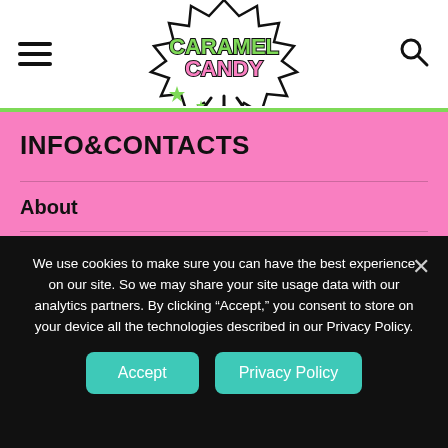CARAMELCANDY
INFO&CONTACTS
About
Contacts
Privacy Policy
We use cookies to make sure you can have the best experience on our site. So we may share your site usage data with our analytics partners. By clicking “Accept,” you consent to store on your device all the technologies described in our Privacy Policy.
Accept  Privacy Policy